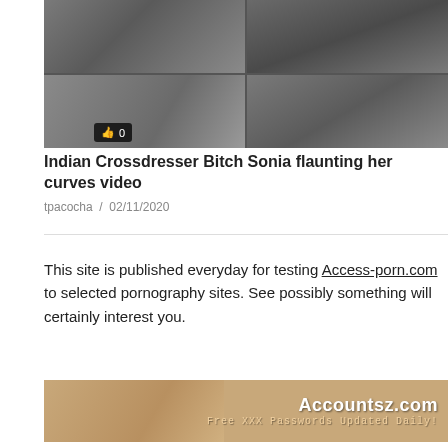[Figure (photo): Video thumbnail grid showing 4 panels with blurry/dark human figure images]
Indian Crossdresser Bitch Sonia flaunting her curves video
tpacocha / 02/11/2020
This site is published everyday for testing Access-porn.com to selected pornography sites. See possibly something will certainly interest you.
[Figure (photo): Advertisement banner for Accountsz.com — Free XXX Passwords Updated Daily!]